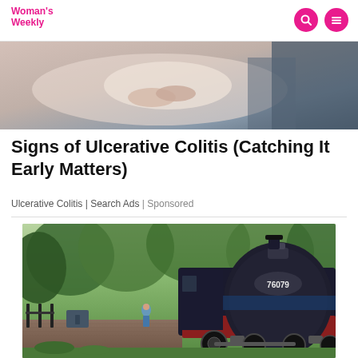Woman's Weekly
[Figure (photo): Person lying down holding their stomach area, wearing white clothing, advertisement image for ulcerative colitis search ad]
Signs of Ulcerative Colitis (Catching It Early Matters)
Ulcerative Colitis | Search Ads | Sponsored
[Figure (photo): Steam locomotive numbered 76079 at a rural station platform with wooden decking, surrounded by trees and greenery. A person stands on the platform beside the train.]